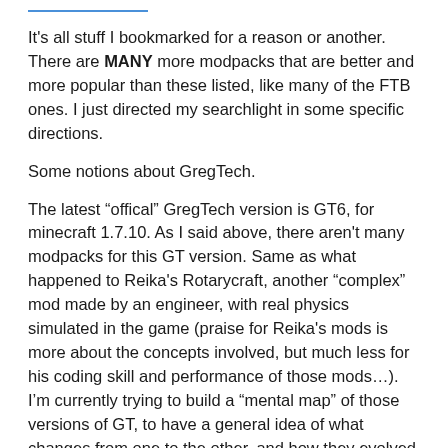It's all stuff I bookmarked for a reason or another. There are MANY more modpacks that are better and more popular than these listed, like many of the FTB ones. I just directed my searchlight in some specific directions.
Some notions about GregTech.
The latest “offical” GregTech version is GT6, for minecraft 1.7.10. As I said above, there aren't many modpacks for this GT version. Same as what happened to Reika's Rotarycraft, another “complex” mod made by an engineer, with real physics simulated in the game (praise for Reika's mods is more about the concepts involved, but much less for his coding skill and performance of those mods…). I’m currently trying to build a “mental map” of those versions of GT, to have a general idea of what changes from one to the other, and how they evolved in complexity and design. It will take me a while.